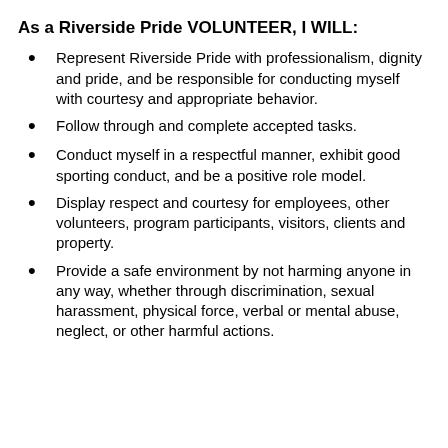As a Riverside Pride VOLUNTEER, I WILL:
Represent Riverside Pride with professionalism, dignity and pride, and be responsible for conducting myself with courtesy and appropriate behavior.
Follow through and complete accepted tasks.
Conduct myself in a respectful manner, exhibit good sporting conduct, and be a positive role model.
Display respect and courtesy for employees, other volunteers, program participants, visitors, clients and property.
Provide a safe environment by not harming anyone in any way, whether through discrimination, sexual harassment, physical force, verbal or mental abuse, neglect, or other harmful actions.